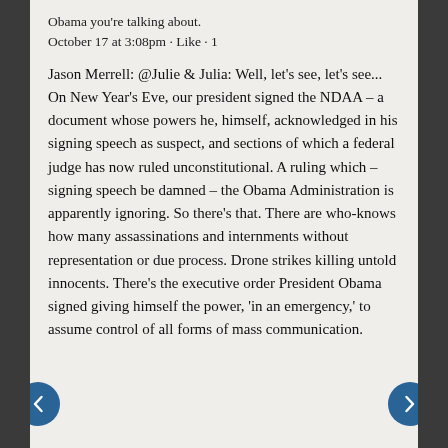Obama you're talking about.
October 17 at 3:08pm · Like · 1
Jason Merrell: @Julie & Julia: Well, let's see, let's see... On New Year's Eve, our president signed the NDAA – a document whose powers he, himself, acknowledged in his signing speech as suspect, and sections of which a federal judge has now ruled unconstitutional. A ruling which – signing speech be damned – the Obama Administration is apparently ignoring. So there's that. There are who-knows how many assassinations and internments without representation or due process. Drone strikes killing untold innocents. There's the executive order President Obama signed giving himself the power, 'in an emergency,' to assume control of all forms of mass communication.